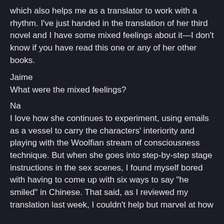which also helps me as a translator to work with a rhythm. I've just handed in the translation of her third novel and I have some mixed feelings about it—I don't know if you have read this one or any of her other books.
Jaime
What were the mixed feelings?
Na
I love how she continues to experiment, using emails as a vessel to carry the characters' interiority and playing with the Woolfian stream of consciousness technique. But when she goes into step-by-step stage instructions in the sex scenes, I found myself bored with having to come up with six ways to say "he smiled" in Chinese. That said, as I reviewed my translation last week, I couldn't help but marvel at how